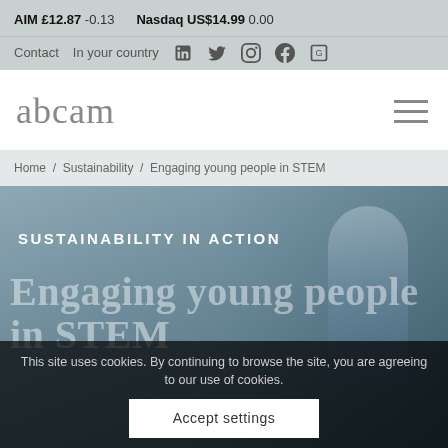AIM £12.87 -0.13   Nasdaq US$14.99 0.00
Contact   In your country   [LinkedIn] [Twitter] [Instagram] [Facebook] [Glassdoor]
[Figure (logo): abcam logo in grey serif font]
Home / Sustainability / Engaging young people in STEM
[Figure (photo): Grey-blue hero background image with blurred figure, overlaid with text: SUSTAINABILITY IN ACTION and large ghost text 'Engaging young people in STEM']
SUSTAINABILITY IN ACTION
Engaging young people in STEM
This site uses cookies. By continuing to browse the site, you are agreeing to our use of cookies.
Accept settings